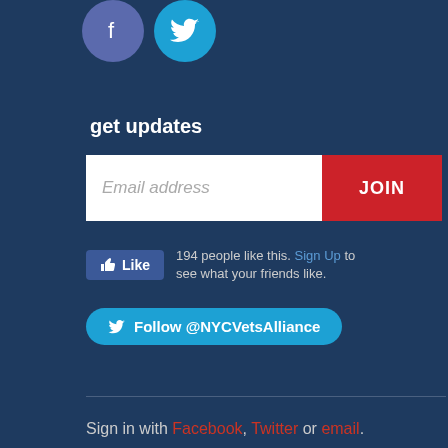[Figure (illustration): Facebook and Twitter social media icon circles at top]
get updates
[Figure (other): Email address input field with JOIN button]
[Figure (other): Facebook Like button with text: 194 people like this. Sign Up to see what your friends like.]
[Figure (other): Twitter Follow @NYCVetsAlliance button]
Sign in with Facebook, Twitter or email.
Created with NationBuilder using a public theme by cStreet